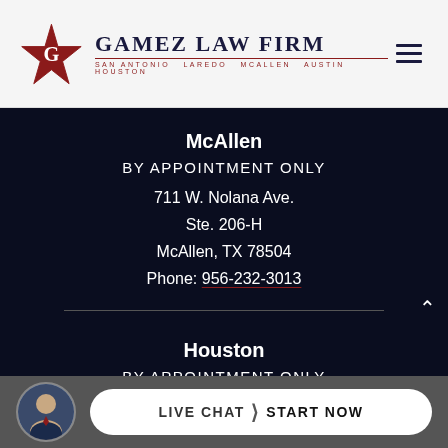[Figure (logo): Gamez Law Firm logo with Texas star and firm name, cities listed below]
McAllen
BY APPOINTMENT ONLY
711 W. Nolana Ave.
Ste. 206-H
McAllen, TX 78504
Phone: 956-232-3013
Houston
BY APPOINTMENT ONLY
LIVE CHAT  START NOW